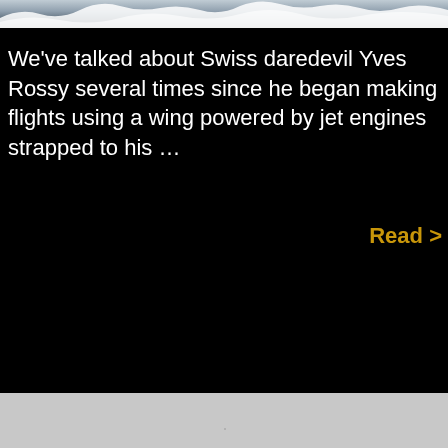[Figure (photo): Mountain snow scene at the top of the page, showing snowy peaks against a dark sky]
We've talked about Swiss daredevil Yves Rossy several times since he began making flights using a wing powered by jet engines strapped to his …
Read >